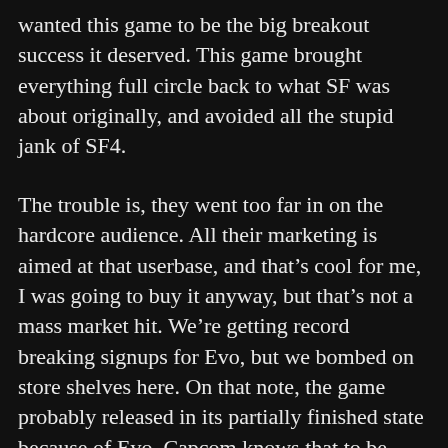wanted this game to be the big breakout success it deserved. This game brought everything full circle back to what SF was about originally, and avoided all the stupid jank of SF4.
The trouble is, they went too far in on the hardcore audience. All their marketing is aimed at that userbase, and that's cool for me, I was going to buy it anyway, but that's not a mass market hit. We're getting record breaking signups for Evo, but we bombed on store shelves here. On that note, the game probably released in its partially finished state because of Evo. Capcom knows that to be included, and to put on a good show, they need to be ready in time for Evo. Which is why the patches adding essential content will only be coming out this month and weren't there on release, which is their biggest chance to sell the game. Day 1 sales are almost always the biggest sales for any game, with a sharp dropoff after that. There have been cases of games getting a